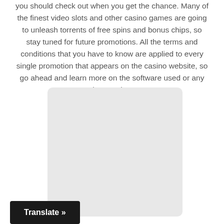you should check out when you get the chance. Many of the finest video slots and other casino games are going to unleash torrents of free spins and bonus chips, so stay tuned for future promotions. All the terms and conditions that you have to know are applied to every single promotion that appears on the casino website, so go ahead and learn more on the software used or any wagering requirements.
[Figure (other): A large light gray rounded rectangle placeholder image area]
Translate »